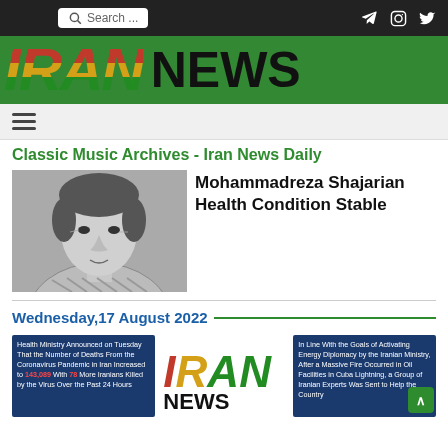Search ... [social icons: Telegram, Instagram, Twitter]
[Figure (logo): IRAN NEWS logo on green background. IRAN in large italic red/gold/green gradient letters, NEWS in large black bold text.]
[Figure (other): Hamburger menu icon (three horizontal lines)]
Classic Music Archives - Iran News Daily
[Figure (photo): Black and white portrait photograph of Mohammadreza Shajarian, an older man.]
Mohammadreza Shajarian Health Condition Stable
Wednesday,17 August 2022
[Figure (screenshot): News card: Health Ministry Announced on Tuesday That the Number of Deaths From the Coronavirus Pandemic in Iran Increased to 143,089 With 78 More Iranians Killed by the Virus Over the Past 24 Hours]
[Figure (logo): IRAN NEWS mini logo]
[Figure (screenshot): News card: In Line With the Goals of Activating Energy Diplomacy by the Iranian Ministry, After a Massive Fire Occurred in Oil Facilities in Cuba Lightning, a Group of Iranian Experts Was Sent to Help the Country]